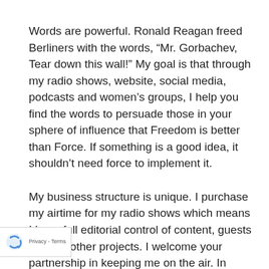Words are powerful. Ronald Reagan freed Berliners with the words, “Mr. Gorbachev, Tear down this wall!” My goal is that through my radio shows, website, social media, podcasts and women’s groups, I help you find the words to persuade those in your sphere of influence that Freedom is better than Force. If something is a good idea, it shouldn’t need force to implement it.
My business structure is unique. I purchase my airtime for my radio shows which means I have full editorial control of content, guests and the other projects. I welcome your partnership in keeping me on the air. In doing so, you will exponentially augment the good work that you are already involved in. Politics is downstream from culture which is downstream from